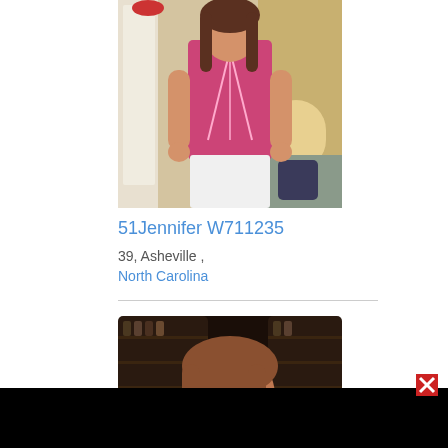[Figure (photo): Woman in pink top and white skirt standing in a room]
51Jennifer W711235
39,  Asheville ,
North Carolina
[Figure (photo): Woman with brown hair, partially visible, dark background with shelving]